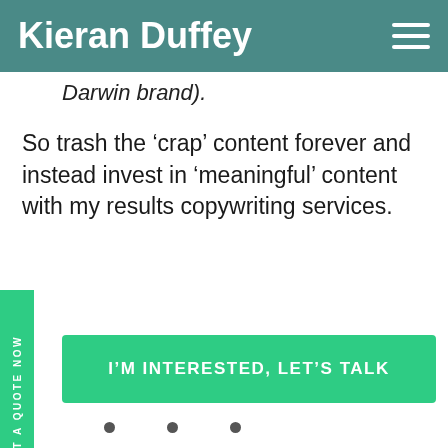Kieran Duffey
Darwin brand).
So trash the ‘crap’ content forever and instead invest in ‘meaningful’ content with my results copywriting services.
GET A QUOTE NOW
I’M INTERESTED, LET’S TALK
[Figure (other): Three navigation dots indicating carousel/slider position]
[Figure (other): Back to top arrow button, circular with upward arrow icon]
Watch This Vid...